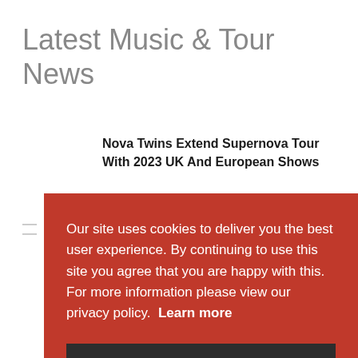Latest Music & Tour News
Nova Twins Extend Supernova Tour With 2023 UK And European Shows
Our site uses cookies to deliver you the best user experience. By continuing to use this site you agree that you are happy with this. For more information please view our privacy policy.  Learn more
Agree and Continue